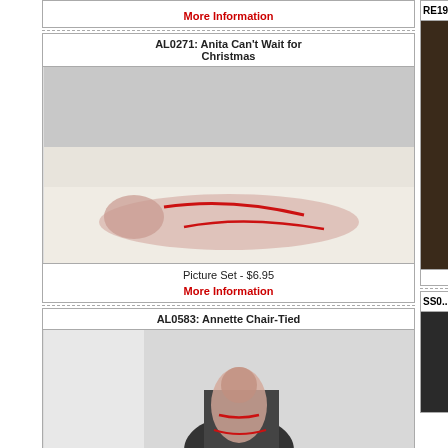More Information
AL0271: Anita Can't Wait for Christmas
[Figure (photo): Woman lying on white sofa tied with red rope]
Picture Set - $6.95
More Information
AL0583: Annette Chair-Tied
[Figure (photo): Woman tied to a black chair with red rope near window]
RE19...S...
[Figure (photo): Partial image on right column - dark toned photo]
SS0...
[Figure (photo): Partial image on right column - dark toned photo]